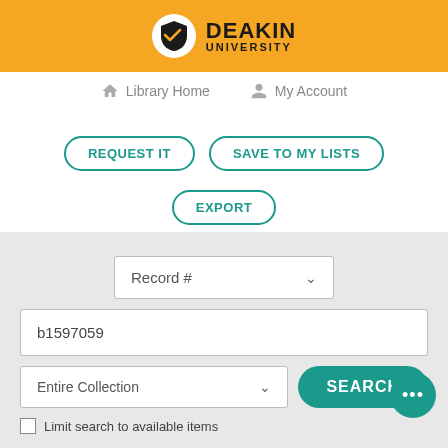[Figure (logo): Deakin University logo on orange header bar with shield icon and bold text DEAKIN UNIVERSITY]
Library Home   My Account
REQUEST IT   SAVE TO MY LISTS
EXPORT
Record #
b1597059
Entire Collection
SEARCH
Limit search to available items